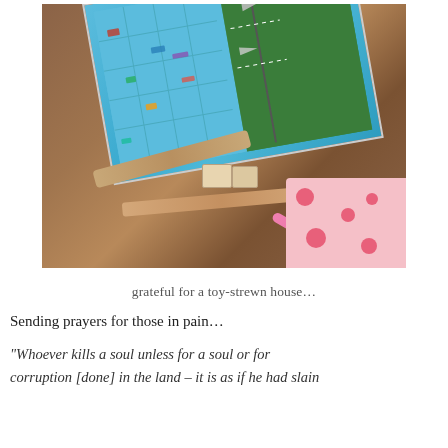[Figure (photo): Photo of a toy-strewn wooden floor with a board game (airport/city themed, tilted), wooden train track pieces, small wooden blocks, and pink toy bars, with a floral cloth in the bottom right corner.]
grateful for a toy-strewn house…
Sending prayers for those in pain…
“Whoever kills a soul unless for a soul or for corruption [done] in the land – it is as if he had slain